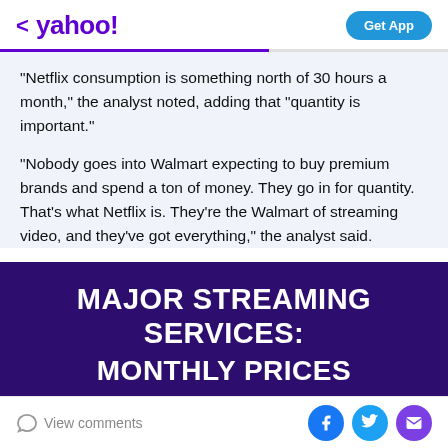< yahoo! | Get App
"Netflix consumption is something north of 30 hours a month," the analyst noted, adding that "quantity is important."
"Nobody goes into Walmart expecting to buy premium brands and spend a ton of money. They go in for quantity. That's what Netflix is. They're the Walmart of streaming video, and they've got everything," the analyst said.
[Figure (infographic): Dark purple infographic banner with white bold uppercase text reading 'MAJOR STREAMING SERVICES: MONTHLY PRICES']
View comments | Facebook | Twitter | Email